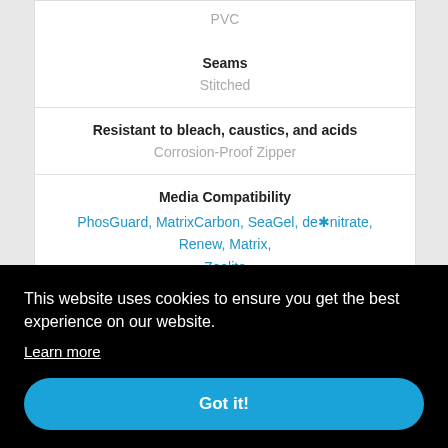| PVC |
| Seams | Stitched |
| Resistant to bleach, caustics, and acids | Corrosion-Proof Zipper |
| Media Compatibility | PhosGuard, MatrixCarbon, SeaGel, de*nitrate, Renew, Matrix, Zeolite |
This website uses cookies to ensure you get the best experience on our website. Learn more
Got it!